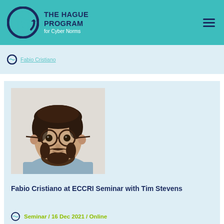The Hague Program for Cyber Norms
Fabio Cristiano at ECCRI Seminar with Tim Stevens
[Figure (photo): Portrait photo of Fabio Cristiano, a man with dark hair, round glasses, and a beard, wearing a light blue shirt, photographed against a light background.]
Fabio Cristiano at ECCRI Seminar with Tim Stevens
Seminar / 16 Dec 2021 / Online